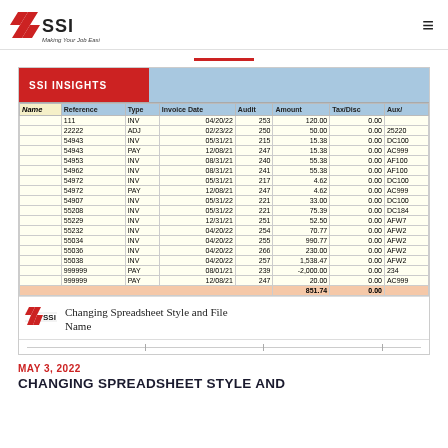SSI Making Your Job Easier
[Figure (screenshot): SSI Insights banner with red label and blue area, followed by spreadsheet table showing invoice/payment data with columns: Name, Reference, Type, Invoice Date, Audit, Amount, Tax/Disc, Aux. Rows include entries like 111 INV 04/20/22 253 120.00 0.00, 22222 ADJ 02/23/22 250 50.00 0.00 25220, 54943 INV 05/31/21 215 15.38 0.00 DC100, etc. Total row shows 851.74 and 0.00 highlighted in orange.]
Changing Spreadsheet Style and File Name
MAY 3, 2022
CHANGING SPREADSHEET STYLE AND